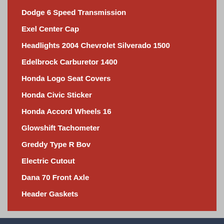Dodge 6 Speed Transmission
Exel Center Cap
Headlights 2004 Chevrolet Silverado 1500
Edelbrock Carburetor 1400
Honda Logo Seat Covers
Honda Civic Sticker
Honda Accord Wheels 16
Glowshift Tachometer
Greddy Type R Bov
Electric Cutout
Dana 70 Front Axle
Header Gaskets
© Replacement Auto Auto Parts Ready To Ship - New and Used Automobile Components Available  Privacy Policy